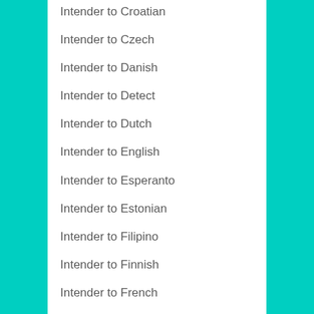Intender to Croatian
Intender to Czech
Intender to Danish
Intender to Detect
Intender to Dutch
Intender to English
Intender to Esperanto
Intender to Estonian
Intender to Filipino
Intender to Finnish
Intender to French
Intender to Frisian
Intender to Galician
Intender to Georgian